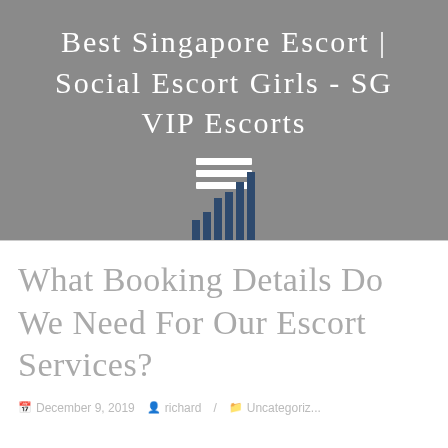Best Singapore Escort | Social Escort Girls - SG VIP Escorts
[Figure (logo): Website logo icon composed of horizontal lines (hamburger menu icon) above a bar chart icon, in white and dark blue on grey background]
What Booking Details Do We Need For Our Escort Services?
December 9, 2019   richard  /   Uncategoriz...